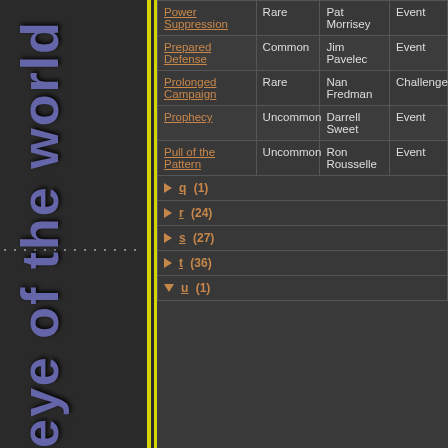| Card Name | Rarity | Artist | Type |
| --- | --- | --- | --- |
| Power Suppression | Rare | Pat Morrisey | Event |
| Prepared Defense | Common | Jim Pavelec | Event | Limited |
| Prolonged Campaign | Rare | Nan Fredman | Challenge |
| Prophecy | Uncommon | Darrell Sweet | Event |
| Pull of the Pattern | Uncommon | Ron Rousselle | Event |
| ▶ q (1) |  |  |  |
| ▶ r (24) |  |  |  |
| ▶ s (27) |  |  |  |
| ▶ t (36) |  |  |  |
| ▼ u (1) |  |  |  |